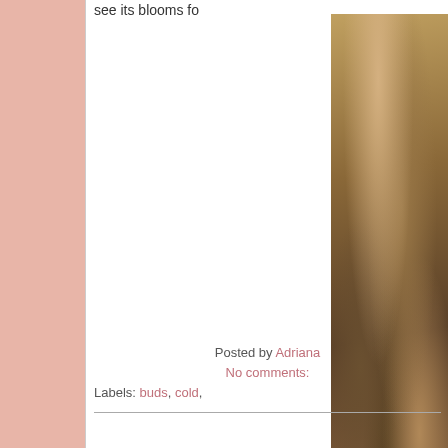see its blooms fo
[Figure (photo): Close-up nature photo showing dried leaves, twigs, and foliage in autumn browns and tans]
Subscribe via Email
Enter your Contact Info:
Email Address
First Name
Last Name
Posted by Adriana
No comments:
Labels: buds, cold,